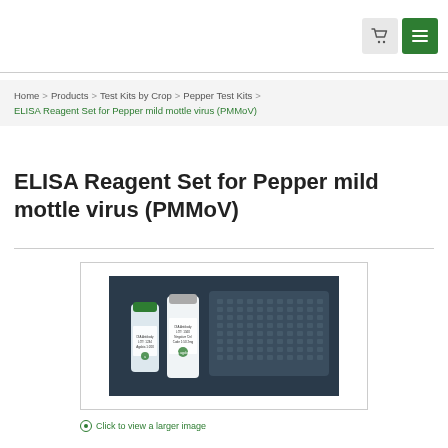Cart and Menu navigation buttons
Home > Products > Test Kits by Crop > Pepper Test Kits > ELISA Reagent Set for Pepper mild mottle virus (PMMoV)
ELISA Reagent Set for Pepper mild mottle virus (PMMoV)
[Figure (photo): Photo of ELISA reagent set for PMMoV: two small vials/bottles and a microplate tray on a dark background, with Agdia brand labels visible.]
Click to view a larger image